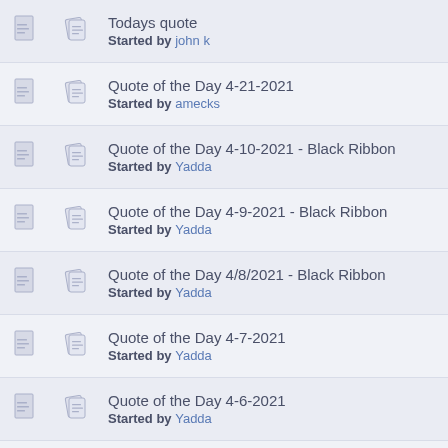Todays quote
Started by john k
Quote of the Day 4-21-2021
Started by amecks
Quote of the Day 4-10-2021 - Black Ribbon
Started by Yadda
Quote of the Day 4-9-2021 - Black Ribbon
Started by Yadda
Quote of the Day 4/8/2021 - Black Ribbon
Started by Yadda
Quote of the Day 4-7-2021
Started by Yadda
Quote of the Day 4-6-2021
Started by Yadda
Quote of the Day. 4-5-2021
Started by Yadda
Quote of the Day 4-4-2021
Started by Yadda